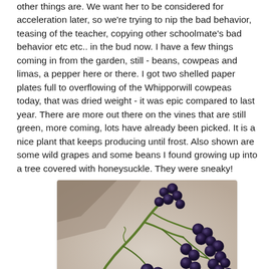other things are.  We want her to be considered for acceleration later, so we're trying to nip the bad behavior, teasing of the teacher, copying other schoolmate's bad behavior etc etc.. in the bud now.  I have a few things coming in from the garden, still - beans, cowpeas and limas, a pepper here or there.  I got two shelled paper plates full to overflowing of the Whipporwill cowpeas today, that was dried weight - it was epic compared to last year.  There are more out there on the vines that are still green, more coming, lots have already been picked.  It is a nice plant that keeps producing until frost.   Also shown are some wild grapes and some beans I found growing up into a tree covered with honeysuckle.  They were sneaky!
[Figure (photo): Close-up photograph of wild grapes - small dark blue/black round berries on a green vine/stem, against a light beige background]